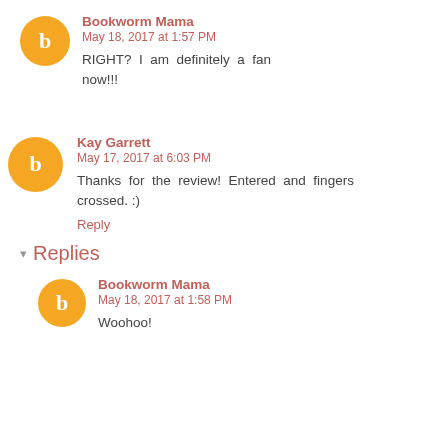Bookworm Mama
May 18, 2017 at 1:57 PM
RIGHT? I am definitely a fan now!!!
Kay Garrett
May 17, 2017 at 6:03 PM
Thanks for the review! Entered and fingers crossed. :)
Reply
Replies
Bookworm Mama
May 18, 2017 at 1:58 PM
Woohoo!